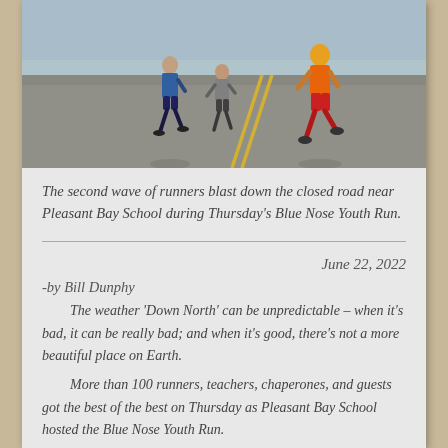[Figure (photo): Runners racing down a closed road near Pleasant Bay School during the Blue Nose Youth Run. A child in an orange shirt and red shorts leads, with other runners visible behind on the asphalt road with yellow center lines.]
The second wave of runners blast down the closed road near Pleasant Bay School during Thursday's Blue Nose Youth Run.
June 22, 2022
-by Bill Dunphy
The weather 'Down North' can be unpredictable – when it's bad, it can be really bad; and when it's good, there's not a more beautiful place on Earth.
More than 100 runners, teachers, chaperones, and guests got the best of the best on Thursday as Pleasant Bay School hosted the Blue Nose Youth Run.